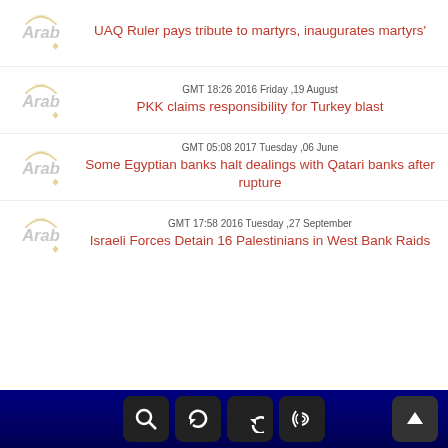UAQ Ruler pays tribute to martyrs, inaugurates martyrs'
GMT 18:26 2016 Friday ,19 August
PKK claims responsibility for Turkey blast
GMT 05:08 2017 Tuesday ,06 June
Some Egyptian banks halt dealings with Qatari banks after rupture
GMT 17:58 2016 Tuesday ,27 September
Israeli Forces Detain 16 Palestinians in West Bank Raids